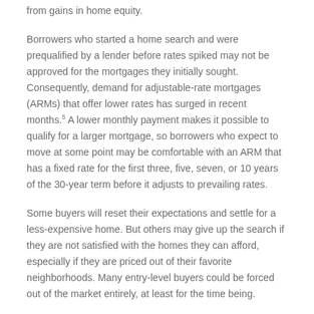from gains in home equity.
Borrowers who started a home search and were prequalified by a lender before rates spiked may not be approved for the mortgages they initially sought. Consequently, demand for adjustable-rate mortgages (ARMs) that offer lower rates has surged in recent months.5 A lower monthly payment makes it possible to qualify for a larger mortgage, so borrowers who expect to move at some point may be comfortable with an ARM that has a fixed rate for the first three, five, seven, or 10 years of the 30-year term before it adjusts to prevailing rates.
Some buyers will reset their expectations and settle for a less-expensive home. But others may give up the search if they are not satisfied with the homes they can afford, especially if they are priced out of their favorite neighborhoods. Many entry-level buyers could be forced out of the market entirely, at least for the time being.